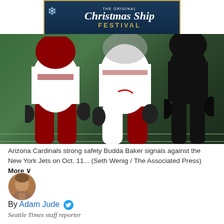[Figure (photo): Advertisement banner for The Original Christmas Ship Festival with snowflake icon and ship illustration on dark blue background with gold border]
[Figure (photo): Arizona Cardinals players in white and red uniforms on a football field, showing lower bodies and gloved hands]
Arizona Cardinals strong safety Budda Baker signals against the New York Jets on Oct. 11... (Seth Wenig / The Associated Press) More
[Figure (photo): Headshot/avatar of author Adam Jude]
By Adam Jude [Twitter icon]
Seattle Times staff reporter
The Seahawks' first foray into NFC West play this season begins Sunday afternoon in Arizona.
The Seahawks are coming off their bye and, at 5-0